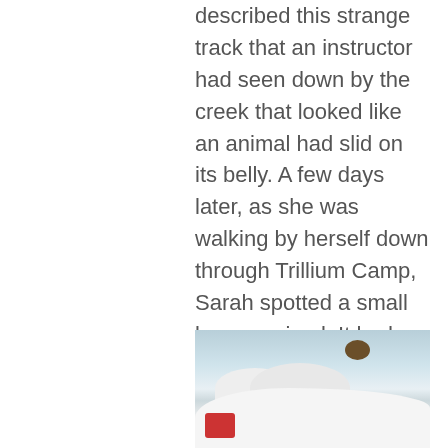described this strange track that an instructor had seen down by the creek that looked like an animal had slid on its belly. A few days later, as she was walking by herself down through Trillium Camp, Sarah spotted a small brown animal. It had sleek fur and a long body with short legs. It was a mink! What a special treat to see down in our forest home! Mink are part of the weasel family, just like fishers, and make very interesting tracks around our camp.
[Figure (photo): Photo of a snowy outdoor scene, partially visible at the bottom of the page, showing snow mounds and a red object in the lower left]